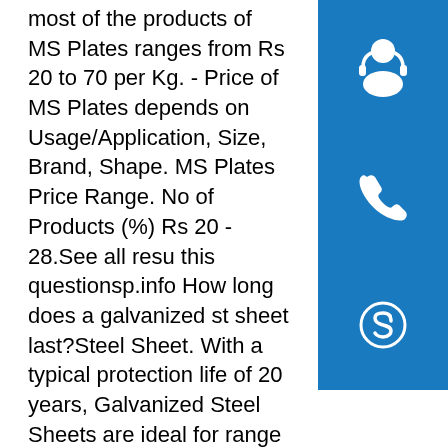most of the products of MS Plates ranges from Rs 20 to 70 per Kg. - Price of MS Plates depends on Usage/Application, Size, Brand, Shape. MS Plates Price Range. No of Products (%) Rs 20 - 28.See all results for this questionsp.info How long does a galvanized steel sheet last?Steel Sheet. With a typical protection life of 20 years, Galvanized Steel Sheets are ideal for a wide range of outdoor applications, or for decorative interior design. Magnetic, Brinell = 95, Tensile = 52,000, Yield = 38,000 (+/-) Available Stock Sizes: 1ft x 1ft, 1ft x 2ft, 1ft x 4ft, 2ft x 2ft, 2ft x 4ft, 4ft x 4ft, 4ft x 8ft, 4ft x 10ft,...See all results for this questionsp.info Metals Depot® Buy Steel Online! Any Quantity, Any Size ...Drill Rod - A2 ; Drill Rod - O1 ... Shop our Warehouse for Structural Steel Get Prices, Check Stock ... Place Orders ... Steel Sheet, Steel Plate, Steel Diamond Plate, Steel Expanded, Steel Perforated Sheet, Steel Grip Strut, Steel Grating, Steel Wire Mesh, Steel Rebar, and Galvanized Steel. A36 Hot Rolled Steel, 1008/1010 Steel, 1011 Steel ...
[Figure (illustration): Blue square icon with white customer support / headset avatar silhouette]
[Figure (illustration): Blue square icon with white telephone handset icon]
[Figure (logo): Blue square icon with white Skype logo (S letter)]